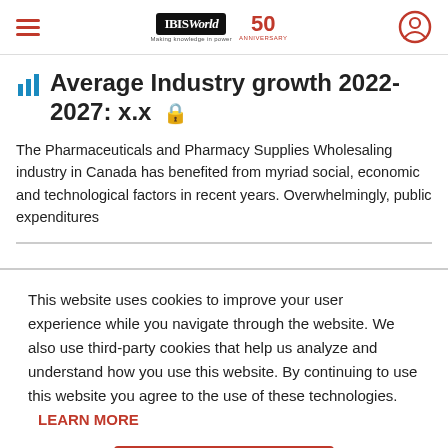IBISWorld 50th Anniversary
Average Industry growth 2022-2027: x.x 🔒
The Pharmaceuticals and Pharmacy Supplies Wholesaling industry in Canada has benefited from myriad social, economic and technological factors in recent years. Overwhelmingly, public expenditures
This website uses cookies to improve your user experience while you navigate through the website. We also use third-party cookies that help us analyze and understand how you use this website. By continuing to use this website you agree to the use of these technologies. LEARN MORE
ACCEPT